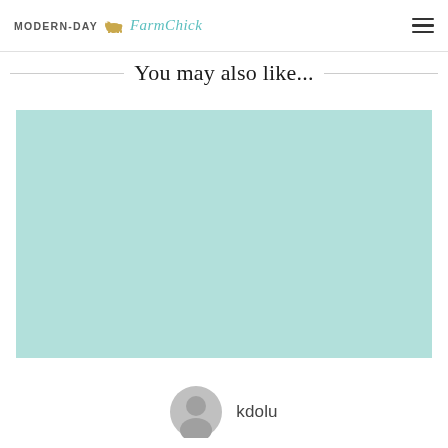MODERN-DAY Farm Chick
You may also like...
[Figure (photo): Light mint/teal colored rectangular image placeholder]
kdolu